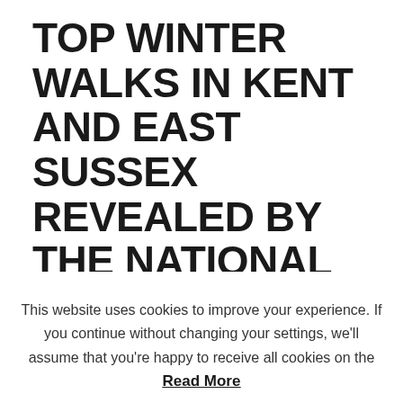TOP WINTER WALKS IN KENT AND EAST SUSSEX REVEALED BY THE NATIONAL TRUST
14 DEC 2017
This website uses cookies to improve your experience. If you continue without changing your settings, we'll assume that you're happy to receive all cookies on the insideKENT website. Accept
Read More